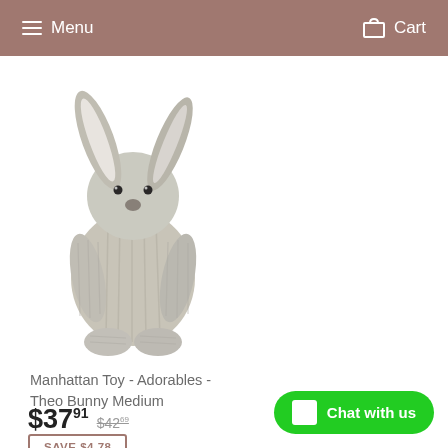Menu   Cart
[Figure (photo): Stuffed toy bunny rabbit with long floppy ears, grey/beige knitted texture, sitting upright. Manhattan Toy Adorables Theo Bunny Medium.]
Manhattan Toy - Adorables - Theo Bunny Medium
$37.91  $42.69
SAVE $4.78
Chat with us